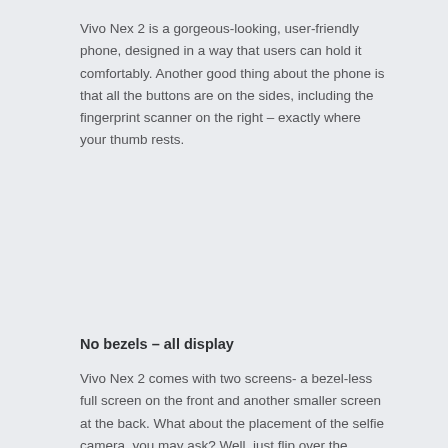Vivo Nex 2 is a gorgeous-looking, user-friendly phone, designed in a way that users can hold it comfortably. Another good thing about the phone is that all the buttons are on the sides, including the fingerprint scanner on the right – exactly where your thumb rests.
No bezels – all display
Vivo Nex 2 comes with two screens- a bezel-less full screen on the front and another smaller screen at the back. What about the placement of the selfie camera, you may ask? Well, just flip over the phone,